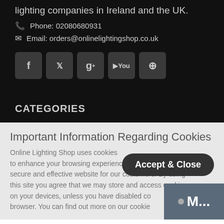lighting companies in Ireland and the UK.
Phone: 02080680931
Email: orders@onlinelightingshop.co.uk
[Figure (other): Social media icon buttons: Facebook, Twitter, Google+, YouTube, Pinterest]
CATEGORIES
Important Information Regarding Cookies
Accept & Close
Online Lighting Shop uses cookies to enhance your browsing experience and to create a secure and effective website for our customers. By using this site you agree that we may store and access cookies on your devices, unless you have disabled co... browser. You can find out more on our cookie...
[Figure (other): M... button overlay]